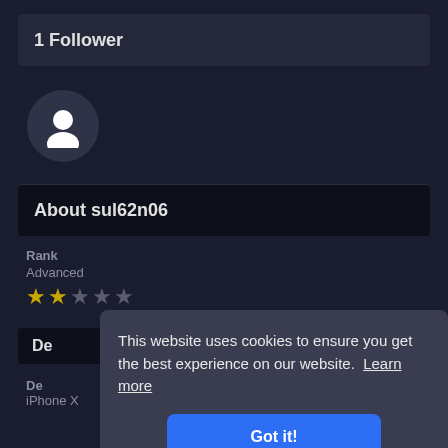1 Follower
[Figure (illustration): Circular avatar with a white user silhouette icon on a dark background]
About sul62n06
Rank
Advanced
★★☆☆☆
De
De
iPhone X
This website uses cookies to ensure you get the best experience on our website.  Learn more
Got it!